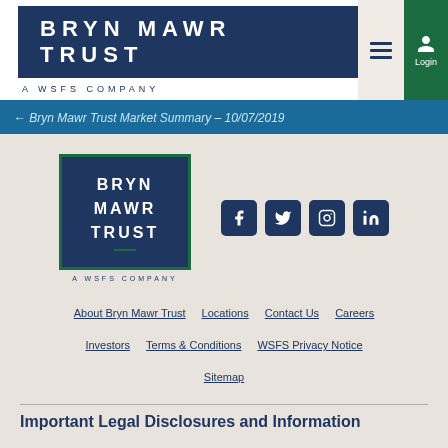[Figure (logo): Bryn Mawr Trust logo with dark navy background and 'A WSFS COMPANY' tagline, with hamburger menu and login button on the right]
← Bryn Mawr Trust Market Summary – 10/07/2019
[Figure (logo): Bryn Mawr Trust footer logo (navy box with green border) and social media icons: Facebook, Twitter, Instagram, LinkedIn]
About Bryn Mawr Trust   Locations   Contact Us   Careers   Investors   Terms & Conditions   WSFS Privacy Notice   Sitemap
Important Legal Disclosures and Information